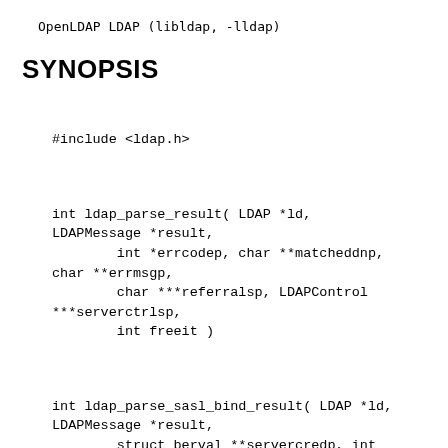OpenLDAP LDAP (libldap, -lldap)
SYNOPSIS
#include <ldap.h>
int ldap_parse_result( LDAP *ld,
LDAPMessage *result,
        int *errcodep, char **matcheddnp,
char **errmsgp,
        char ***referralsp, LDAPControl
***serverctrlsp,
        int freeit )
int ldap_parse_sasl_bind_result( LDAP *ld,
LDAPMessage *result,
        struct berval **servercredp, int
freeit )
int ldap_parse_extended_result( LDAP *ld,
LDAPMessage *result,